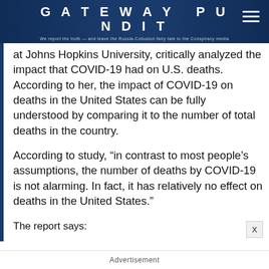GATEWAY PUNDIT
We report the truth — and leave the Russia-Collusion fairy tale to the Conspiracy media
at Johns Hopkins University, critically analyzed the impact that COVID-19 had on U.S. deaths. According to her, the impact of COVID-19 on deaths in the United States can be fully understood by comparing it to the number of total deaths in the country.
According to study, “in contrast to most people’s assumptions, the number of deaths by COVID-19 is not alarming. In fact, it has relatively no effect on deaths in the United States.”
The report says:
Advertisement